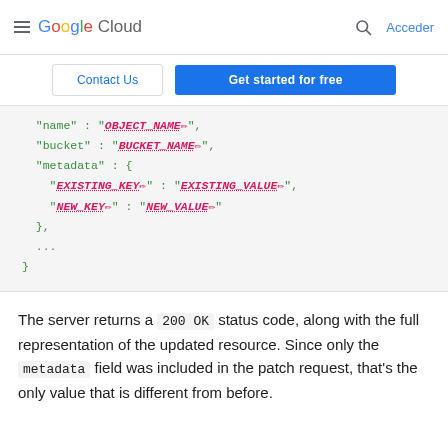Google Cloud  Acceder
Contact Us  Get started for free
[Figure (screenshot): Code block showing JSON with name: OBJECT_NAME, bucket: BUCKET_NAME, metadata: { EXISTING_KEY: EXISTING_VALUE, NEW_KEY: NEW_VALUE }, ...]
The server returns a 200 OK status code, along with the full representation of the updated resource. Since only the metadata field was included in the patch request, that's the only value that is different from before.